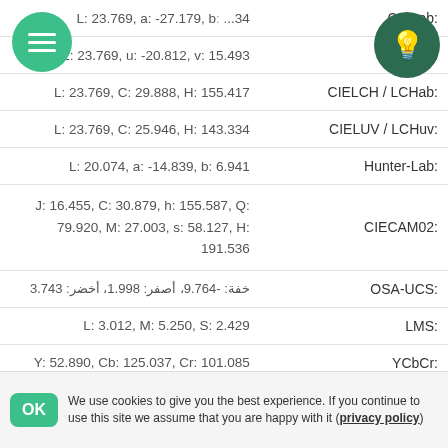| Label | Value |
| --- | --- |
| CIELab: | L: 23.769, a: -27.179, b: ...34 |
| CIELuv: | L: 23.769, u: -20.812, v: 15.493 |
| CIELCH / LCHab: | L: 23.769, C: 29.888, H: 155.417 |
| CIELUV / LCHuv: | L: 23.769, C: 25.946, H: 143.334 |
| Hunter-Lab: | L: 20.074, a: -14.839, b: 6.941 |
| CIECAM02: | J: 16.455, C: 30.879, h: 155.587, Q: 79.920, M: 27.003, s: 58.127, H: 191.536 |
| OSA-UCS: | خفة: -9.764، أصفر: 1.998، أخضر: 3.743 |
| LMS: | L: 3.012, M: 5.250, S: 2.429 |
| YCbCr: | Y: 52.890, Cb: 125.037, Cr: 101.085 |
| YCoCg: | Y: 42.250, Cg: 23.750, Co: -9.250 |
We use cookies to give you the best experience. If you continue to use this site we assume that you are happy with it (privacy policy)